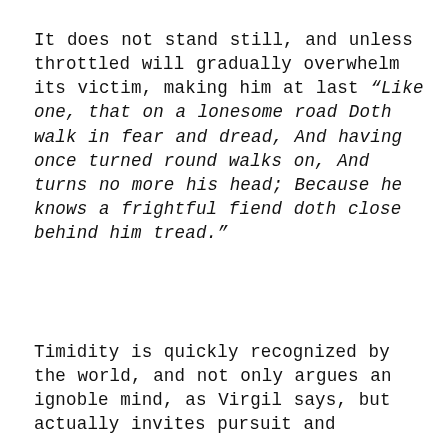It does not stand still, and unless throttled will gradually overwhelm its victim, making him at last “Like one, that on a lonesome road Doth walk in fear and dread, And having once turned round walks on, And turns no more his head; Because he knows a frightful fiend doth close behind him tread.”
Timidity is quickly recognized by the world, and not only argues an ignoble mind, as Virgil says, but actually invites pursuit and